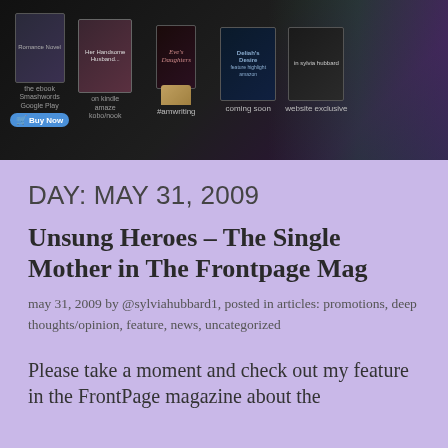[Figure (photo): Dark banner advertisement showing book covers with text labels: #amwriting, coming soon, website exclusive, with a blue Buy Now button and a hand holding a book.]
DAY: MAY 31, 2009
Unsung Heroes – The Single Mother in The Frontpage Mag
may 31, 2009 by @sylviahubbard1, posted in articles: promotions, deep thoughts/opinion, feature, news, uncategorized
Please take a moment and check out my feature in the FrontPage magazine about the